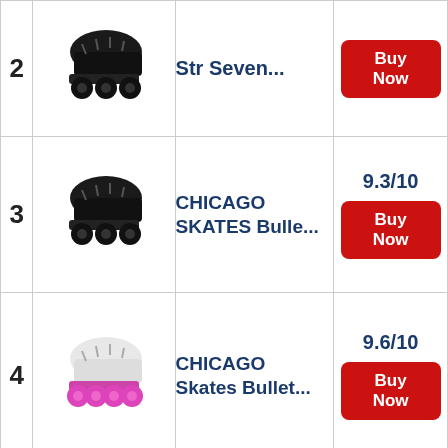| # | Image | Product | Rating/Action |
| --- | --- | --- | --- |
| 2 | [skate image] | Str Seven... | Buy Now |
| 3 | [skate image] | CHICAGO SKATES Bulle... | 9.3/10 | Buy Now |
| 4 | [skate image] | CHICAGO Skates Bullet... | 9.6/10 | Buy Now |
| 5 | [skate image] | Epic Skates Evolution Bla... | 8.2/10 | Buy Now |